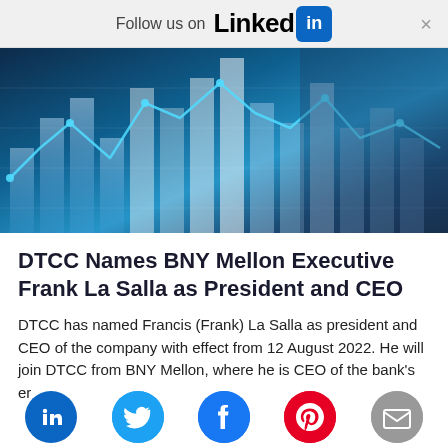Follow us on LinkedIn
[Figure (photo): Abstract financial chart hero image with blue-tinted bar charts and line chart overlay on dark background]
DTCC Names BNY Mellon Executive Frank La Salla as President and CEO
DTCC has named Francis (Frank) La Salla as president and CEO of the company with effect from 12 August 2022. He will join DTCC from BNY Mellon, where he is CEO of the bank's er